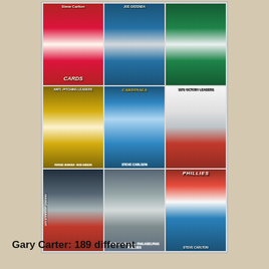[Figure (photo): A 3x3 grid of vintage baseball cards featuring Cardinals and Phillies players including Steve Carlton and others, showing various card designs from the early 1970s.]
Gary Carter: 189 different